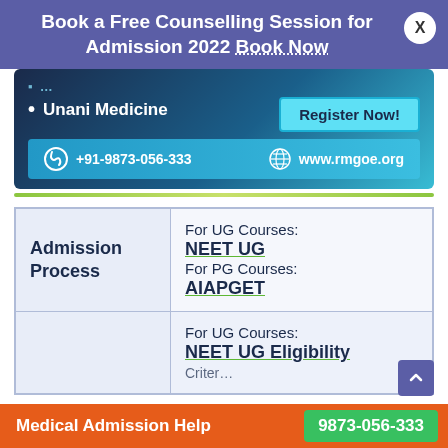Book a Free Counselling Session for Admission 2022 Book Now
[Figure (infographic): Advertisement card for RMGOE with bullet point 'Unani Medicine', a 'Register Now!' button, phone number +91-9873-056-333, and website www.rmgoe.org on a dark blue to cyan gradient background.]
| Admission Process |  |
| --- | --- |
| Admission Process | For UG Courses:
NEET UG
For PG Courses:
AIAPGET |
|  | For UG Courses:
NEET UG Eligibility
Criter... |
Medical Admission Help   9873-056-333